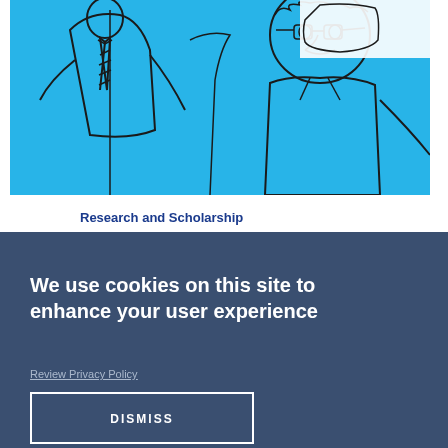[Figure (illustration): Blue background illustration with hand-drawn line art figures of people in business attire]
Research and Scholarship
We use cookies on this site to enhance your user experience
Review Privacy Policy
DISMISS